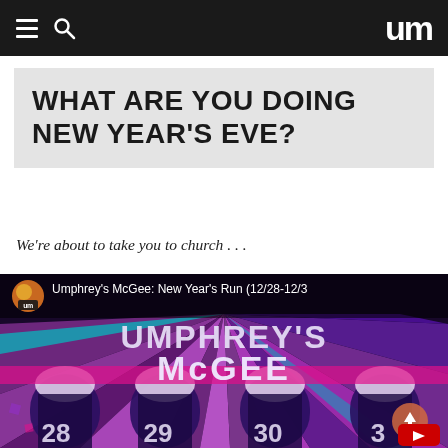um (Umphrey's McGee website navigation bar)
WHAT ARE YOU DOING NEW YEAR'S EVE?
We're about to take you to church . . .
[Figure (screenshot): YouTube video thumbnail for 'Umphrey's McGee: New Year's Run (12/28-12/3...)' showing a colorful animated graphic with 'Umphrey's McGee' text in large stylized purple/white letters against a vibrant purple, pink, teal and blue radiating background, with numbers 28, 29, 30, 3... visible at the bottom representing concert dates.]